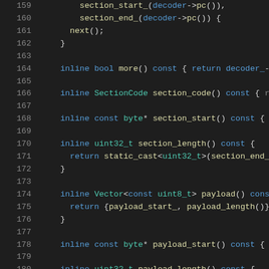[Figure (screenshot): Source code viewer showing C++ code lines 159-180 with syntax highlighting on dark background. Lines show inline methods including more(), section_code(), section_start(), section_length(), payload(), payload_start(), and payload_length().]